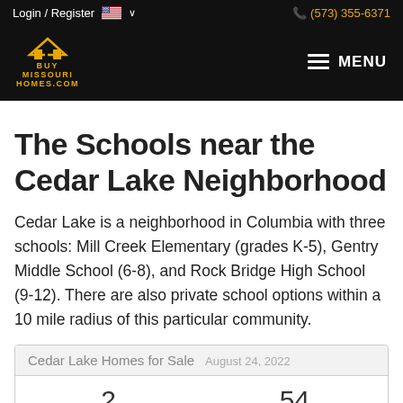Login / Register    (573) 355-6371
[Figure (logo): BuyMissouriHomes.com logo with house icon in gold/yellow on black background, with MENU hamburger button on right]
The Schools near the Cedar Lake Neighborhood
Cedar Lake is a neighborhood in Columbia with three schools: Mill Creek Elementary (grades K-5), Gentry Middle School (6-8), and Rock Bridge High School (9-12). There are also private school options within a 10 mile radius of this particular community.
| Cedar Lake Homes for Sale | August 24, 2022 |
| --- | --- |
| 2 | 54 |